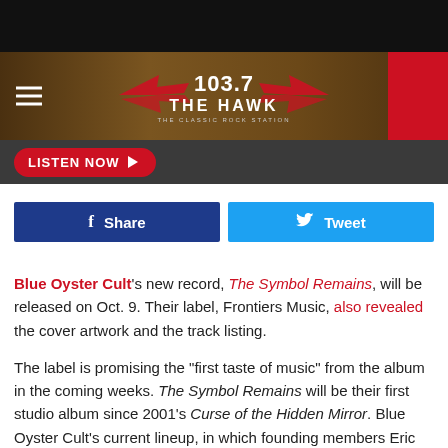[Figure (screenshot): 103.7 The Hawk classic rock station logo with wings, on a rocky/earthy brown background header banner]
[Figure (screenshot): Listen Now button in red/white on dark grey bar]
[Figure (screenshot): Facebook Share button (dark blue) and Twitter Tweet button (light blue)]
Blue Oyster Cult's new record, The Symbol Remains, will be released on Oct. 9. Their label, Frontiers Music, also revealed the cover artwork and the track listing.
The label is promising the "first taste of music" from the album in the coming weeks. The Symbol Remains will be their first studio album since 2001's Curse of the Hidden Mirror. Blue Oyster Cult's current lineup, in which founding members Eric Bloom (vocals/keyboards) and Buck Dharma